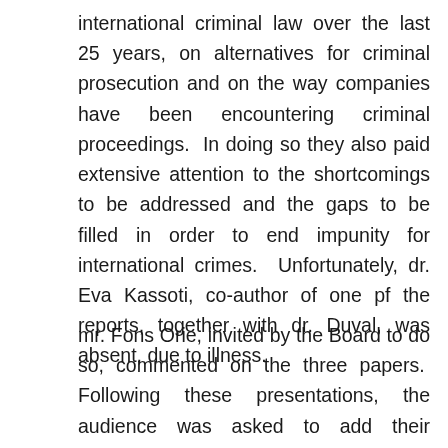international criminal law over the last 25 years, on alternatives for criminal prosecution and on the way companies have been encountering criminal proceedings.  In doing so they also paid extensive attention to the shortcomings to be addressed and the gaps to be filled in order to end impunity for international crimes.  Unfortunately, dr. Eva Kassoti, co-author of one pf the reports, together with dr. Duval, was absent, due to illness.
mr. Fons Orie, invited by the Board to do so, commented on the three papers.  Following these presentations, the audience was asked to add their comments and raise their questions, which led to a lively debate that took the remainder of